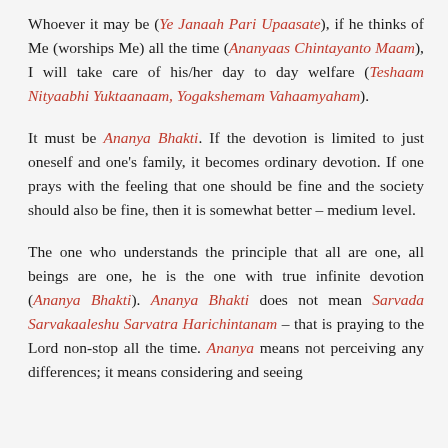Whoever it may be (Ye Janaah Pari Upaasate), if he thinks of Me (worships Me) all the time (Ananyaas Chintayanto Maam), I will take care of his/her day to day welfare (Teshaam Nityaabhi Yuktaanaam, Yogakshemam Vahaamyaham).
It must be Ananya Bhakti. If the devotion is limited to just oneself and one's family, it becomes ordinary devotion. If one prays with the feeling that one should be fine and the society should also be fine, then it is somewhat better – medium level.
The one who understands the principle that all are one, all beings are one, he is the one with true infinite devotion (Ananya Bhakti). Ananya Bhakti does not mean Sarvada Sarvakaaleshu Sarvatra Harichintanam – that is praying to the Lord non-stop all the time. Ananya means not perceiving any differences; it means considering and seeing...